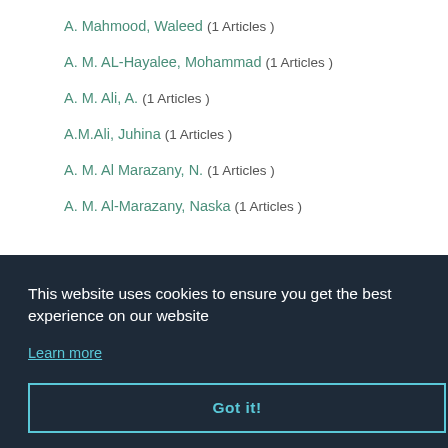A. Mahmood, Waleed (1 Articles )
A. M. AL-Hayalee, Mohammad (1 Articles )
A. M. Ali, A. (1 Articles )
A.M.Ali, Juhina (1 Articles )
A. M. Al Marazany, N. (1 Articles )
A. M. Al-Marazany, Naska (1 Articles )
This website uses cookies to ensure you get the best experience on our website
Learn more
Got it!
Ameen, Sami College of Agriculture- Baghdad University